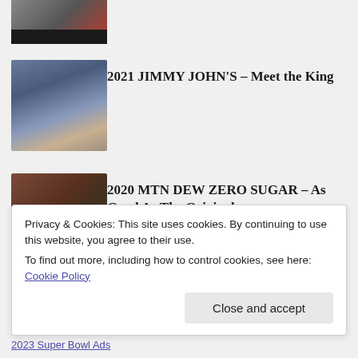[Figure (photo): Partial thumbnail image at top, showing a vehicle in water with a black bar at bottom]
[Figure (photo): Thumbnail for Jimmy John's commercial showing two men relaxing outdoors]
2021 JIMMY JOHN'S – Meet the King
[Figure (photo): Thumbnail for MTN DEW Zero Sugar commercial showing a man with a bottle]
2020 MTN DEW ZERO SUGAR – As Good As The Original
Commercials By Year
Privacy & Cookies: This site uses cookies. By continuing to use this website, you agree to their use.
To find out more, including how to control cookies, see here: Cookie Policy
Close and accept
2023 Super Bowl Ads